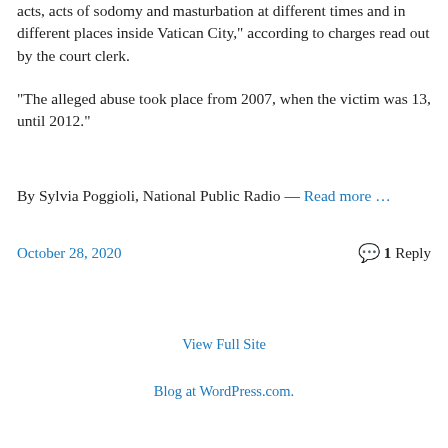acts, acts of sodomy and masturbation at different times and in different places inside Vatican City," according to charges read out by the court clerk.
“The alleged abuse took place from 2007, when the victim was 13, until 2012.”
By Sylvia Poggioli, National Public Radio — Read more …
October 28, 2020
1 Reply
View Full Site
Blog at WordPress.com.